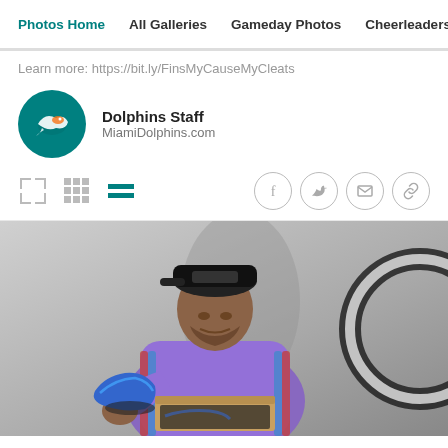Photos Home  All Galleries  Gameday Photos  Cheerleaders  Do
Learn more: https://bit.ly/FinsMyCauseMyCleats
Dolphins Staff
MiamiDolphins.com
[Figure (infographic): Toolbar with view mode icons (expand, grid, list) on the left and social sharing icons (Facebook, Twitter, email, link) on the right]
[Figure (photo): A young man wearing a black cap and purple hoodie examines a blue cleat/shoe while holding a box, with a ring light visible at the right edge. Background is grey studio-style.]